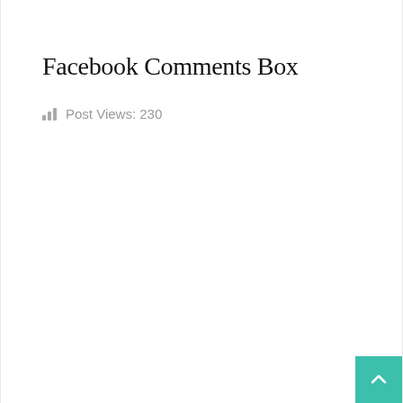Facebook Comments Box
Post Views: 230